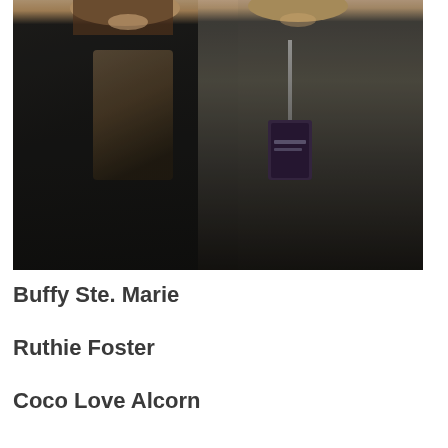[Figure (photo): A photograph of two people standing together. On the left is a woman wearing black clothing with layered necklaces and a fringe-style accessory. On the right is a man wearing a dark blazer over a grey shirt, with a lanyard/badge around his neck. Both are smiling.]
Buffy Ste. Marie
Ruthie Foster
Coco Love Alcorn